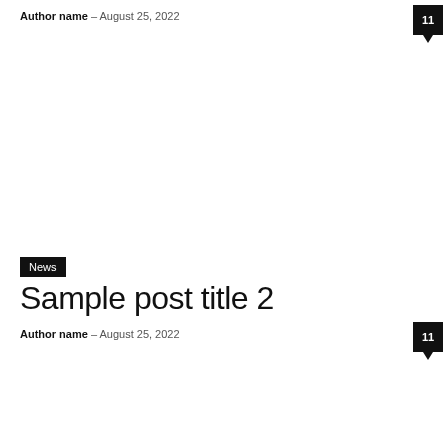Author name – August 25, 2022
11
News
Sample post title 2
Author name – August 25, 2022
11